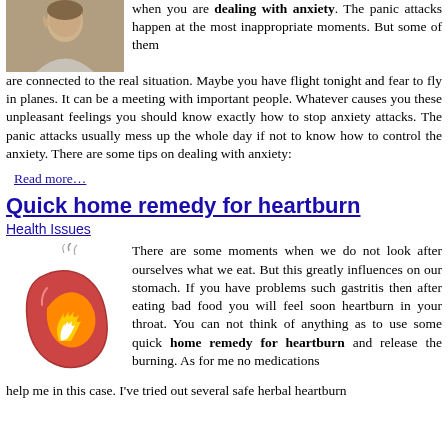[Figure (photo): Person with hand on head, appearing stressed or anxious]
when you are dealing with anxiety. The panic attacks happen at the most inappropriate moments. But some of them are connected to the real situation. Maybe you have flight tonight and fear to fly in planes. It can be a meeting with important people. Whatever causes you these unpleasant feelings you should know exactly how to stop anxiety attacks. The panic attacks usually mess up the whole day if not to know how to control the anxiety. There are some tips on dealing with anxiety:
Read more…
Quick home remedy for heartburn
Health Issues
[Figure (illustration): Illustration of a stomach with fire inside, representing heartburn]
There are some moments when we do not look after ourselves what we eat. But this greatly influences on our stomach. If you have problems such gastritis then after eating bad food you will feel soon heartburn in your throat. You can not think of anything as to use some quick home remedy for heartburn and release the burning. As for me no medications help me in this case. I've tried out several safe herbal heartburn